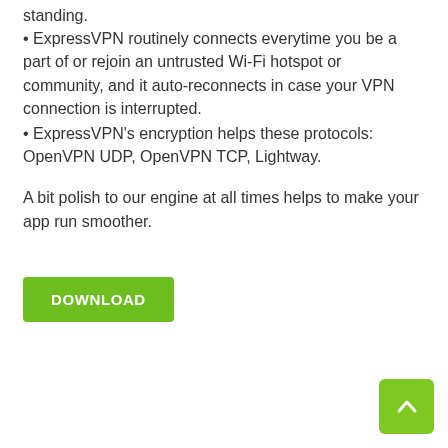standing.
• ExpressVPN routinely connects everytime you be a part of or rejoin an untrusted Wi-Fi hotspot or community, and it auto-reconnects in case your VPN connection is interrupted.
• ExpressVPN's encryption helps these protocols: OpenVPN UDP, OpenVPN TCP, Lightway.
A bit polish to our engine at all times helps to make your app run smoother.
[Figure (other): Green DOWNLOAD button]
[Figure (other): Green scroll-to-top arrow button in bottom right corner]